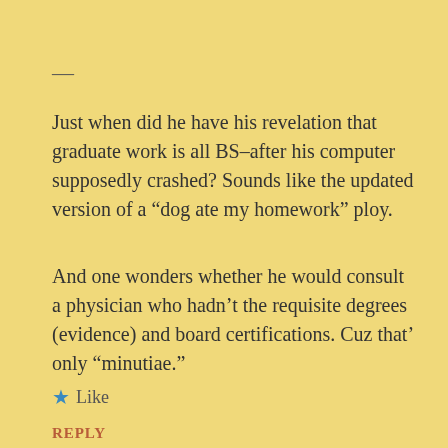—
Just when did he have his revelation that graduate work is all BS–after his computer supposedly crashed? Sounds like the updated version of a “dog ate my homework” ploy.
And one wonders whether he would consult a physician who hadn’t the requisite degrees (evidence) and board certifications. Cuz that’ only “minutiae.”
★ Like
REPLY